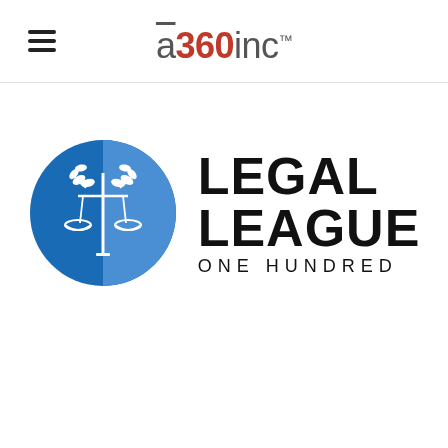ā360inc™
[Figure (logo): Legal League One Hundred logo: blue circle with scales of justice and laurel wreath icon on left, bold black text LEGAL LEAGUE ONE HUNDRED on right]